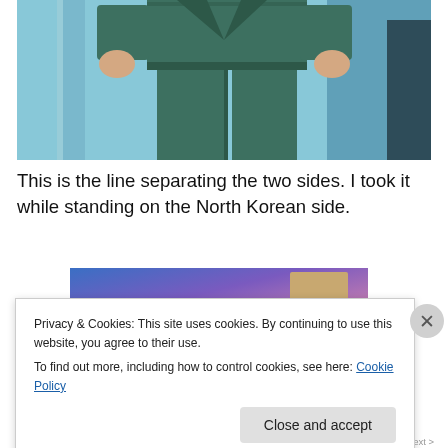[Figure (photo): Photo of a person from neck down wearing a dark teal/green military-style uniform suit, standing with fists clenched at sides, against a light blue background with door frames visible]
This is the line separating the two sides. I took it while standing on the North Korean side.
[Figure (photo): Partially visible second photo with blue-purple gradient background and a tan/brown rectangular element]
Privacy & Cookies: This site uses cookies. By continuing to use this website, you agree to their use.
To find out more, including how to control cookies, see here: Cookie Policy
Close and accept